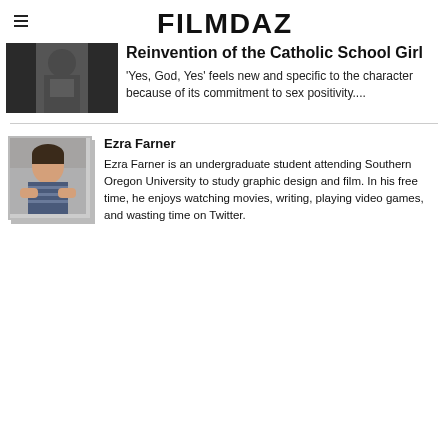FILMDAZE
[Figure (photo): Thumbnail image of a person in dark clothing]
Reinvention of the Catholic School Girl
'Yes, God, Yes' feels new and specific to the character because of its commitment to sex positivity....
[Figure (photo): Author photo of Ezra Farner, a young person in a striped shirt]
Ezra Farner
Ezra Farner is an undergraduate student attending Southern Oregon University to study graphic design and film. In his free time, he enjoys watching movies, writing, playing video games, and wasting time on Twitter.